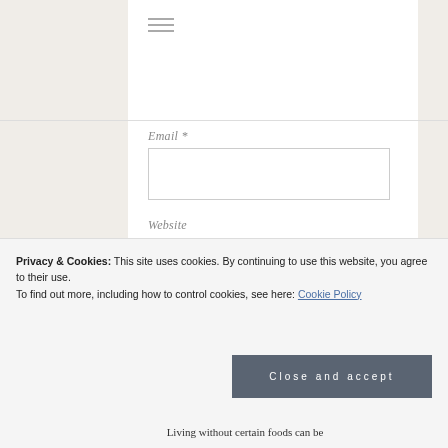[Figure (other): Hamburger menu icon (three horizontal lines)]
Email *
[Figure (other): Email input text box]
Website
[Figure (other): Website input text box]
POST COMMENT
Notify me of follow-up comments by email.
Notify me of new posts by email.
Privacy & Cookies: This site uses cookies. By continuing to use this website, you agree to their use.
To find out more, including how to control cookies, see here: Cookie Policy
Close and accept
Living without certain foods can be